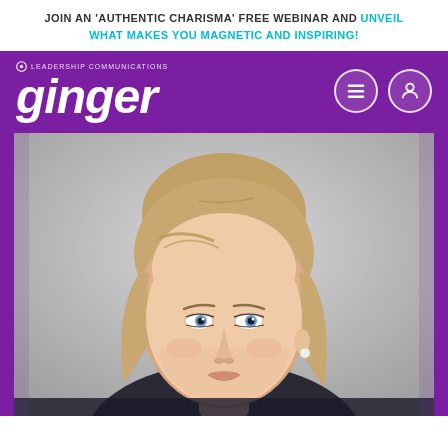JOIN AN 'AUTHENTIC CHARISMA' FREE WEBINAR AND UNVEIL WHAT MAKES YOU MAGNETIC AND INSPIRING!
[Figure (logo): Ginger Leadership Communications logo — white italic 'ginger' wordmark on purple background with tagline 'LEADERSHIP COMMUNICATIONS' and navigation icons (hamburger menu and user profile)]
[Figure (photo): Professional headshot of a young blonde woman with blue eyes, slight smile, wearing pearl earring, light grey background]